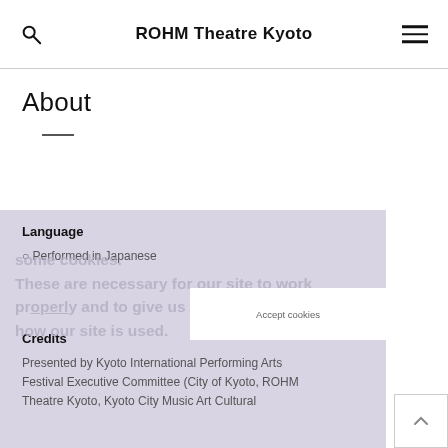ROHM Theatre Kyoto
About
Language
Performed in Japanese
some cookies. These are necessary for our site to work properly and to give us information about how our site is used.
Credits
Presented by Kyoto International Performing Arts Festival Executive Committee (City of Kyoto, ROHM Theatre Kyoto, Kyoto City Music Art Cultural